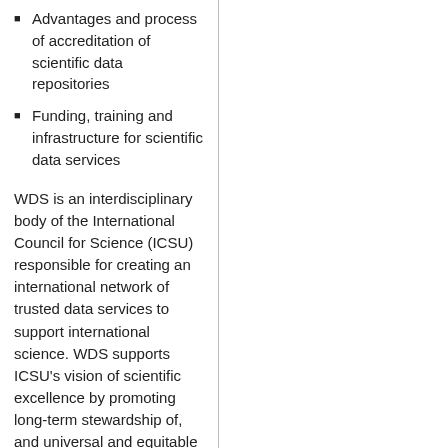Advantages and process of accreditation of scientific data repositories
Funding, training and infrastructure for scientific data services
WDS is an interdisciplinary body of the International Council for Science (ICSU) responsible for creating an international network of trusted data services to support international science. WDS supports ICSU’s vision of scientific excellence by promoting long-term stewardship of, and universal and equitable access to, quality-assured scientific data and data services, products,